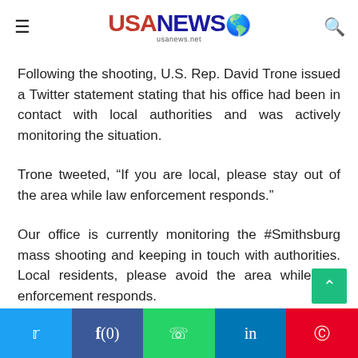USANEWS usanews.net
Following the shooting, U.S. Rep. David Trone issued a Twitter statement stating that his office had been in contact with local authorities and was actively monitoring the situation.
Trone tweeted, “If you are local, please stay out of the area while law enforcement responds.”
Our office is currently monitoring the #Smithsburg mass shooting and keeping in touch with authorities. Local residents, please avoid the area while law enforcement responds.
Twitter | Facebook | WhatsApp | LinkedIn | Pinterest